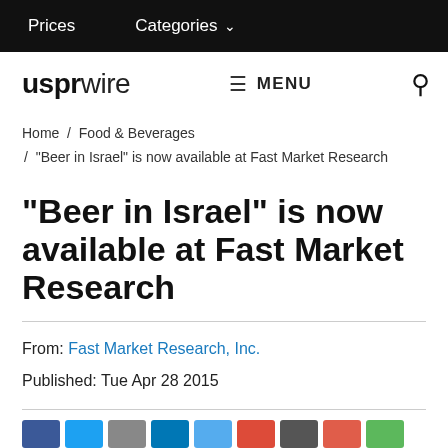Prices   Categories
[Figure (logo): usprwire logo with bold 'uspr' and regular 'wire' text, plus MENU and search icon]
Home / Food & Beverages / "Beer in Israel" is now available at Fast Market Research
"Beer in Israel" is now available at Fast Market Research
From: Fast Market Research, Inc.
Published: Tue Apr 28 2015